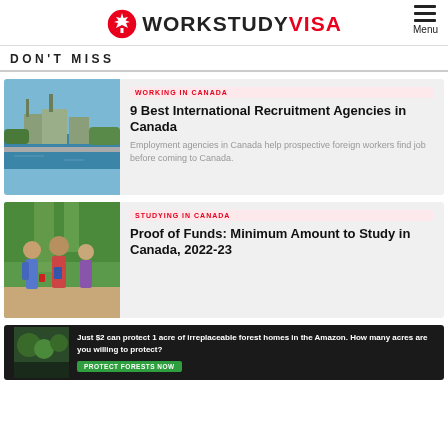WORKSTUDY VISA
DON'T MISS
WORKING IN CANADA
9 Best International Recruitment Agencies in Canada
Employment agencies in Canada help prospective foreign workers find job before coming to Canada.
STUDYING IN CANADA
Proof of Funds: Minimum Amount to Study in Canada, 2022-23
[Figure (photo): Aerial view of Ottawa Parliament buildings and river]
[Figure (photo): Students walking outdoors holding books and flags]
[Figure (photo): Advertisement banner: Just $2 can protect 1 acre of irreplaceable forest homes in the Amazon. How many acres are you willing to protect? PROTECT FORESTS NOW]